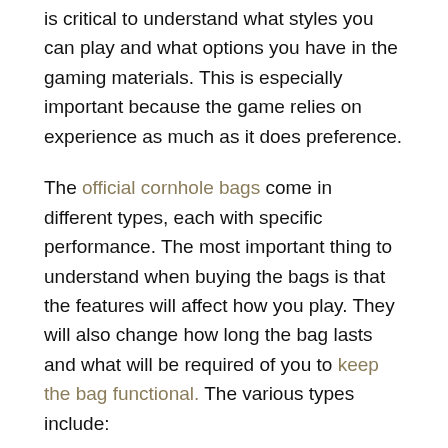is critical to understand what styles you can play and what options you have in the gaming materials. This is especially important because the game relies on experience as much as it does preference.
The official cornhole bags come in different types, each with specific performance. The most important thing to understand when buying the bags is that the features will affect how you play. They will also change how long the bag lasts and what will be required of you to keep the bag functional. The various types include:
The classic bag
This traditional bag offers the best features of all the